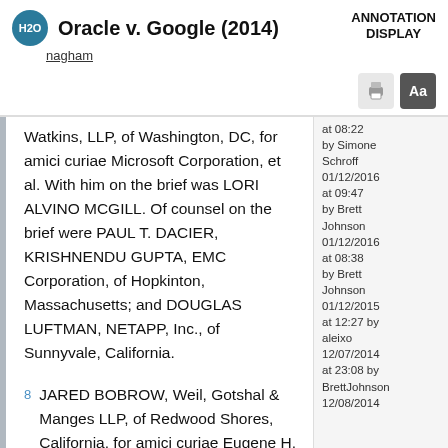Oracle v. Google (2014)
nagham
Watkins, LLP, of Washington, DC, for amici curiae Microsoft Corporation, et al. With him on the brief was LORI ALVINO MCGILL. Of counsel on the brief were PAUL T. DACIER, KRISHNENDU GUPTA, EMC Corporation, of Hopkinton, Massachusetts; and DOUGLAS LUFTMAN, NETAPP, Inc., of Sunnyvale, California.
8 JARED BOBROW, Weil, Gotshal & Manges LLP, of Redwood Shores, California, for amici curiae Eugene H. Spafford, Ph.D., et al. With him on the brief was AARON Y. HUANG
at 08:22 by Simone Schroff 01/12/2016 at 09:47 by Brett Johnson 01/12/2016 at 08:38 by Brett Johnson 01/12/2015 at 12:27 by aleixo 12/07/2014 at 23:08 by Brett Johnson 12/08/2014